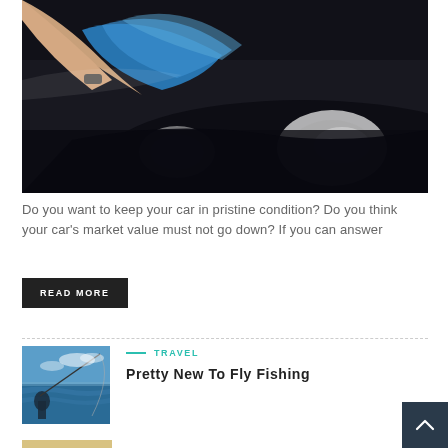[Figure (photo): Person wiping/polishing the hood of a black car with a blue microfiber cloth; close-up showing headlight and hood]
Do you want to keep your car in pristine condition? Do you think your car's market value must not go down? If you can answer
READ MORE
[Figure (photo): Person fishing on open blue water, rod bent, ocean scene]
TRAVEL
Pretty New To Fly Fishing